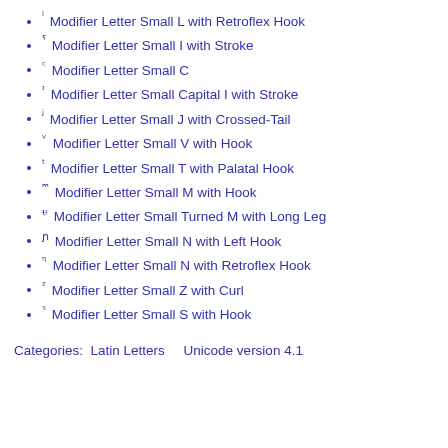ˡ Modifier Letter Small L with Retroflex Hook
ˤ Modifier Letter Small I with Stroke
ᶜ Modifier Letter Small C
ᶦ Modifier Letter Small Capital I with Stroke
ʲ Modifier Letter Small J with Crossed-Tail
ᵛ Modifier Letter Small V with Hook
ᵗ Modifier Letter Small T with Palatal Hook
ᵐ Modifier Letter Small M with Hook
ᵾ Modifier Letter Small Turned M with Long Leg
ɲ Modifier Letter Small N with Left Hook
ᶯ Modifier Letter Small N with Retroflex Hook
ᶻ Modifier Letter Small Z with Curl
ˢ Modifier Letter Small S with Hook
Categories:  Latin Letters    Unicode version 4.1